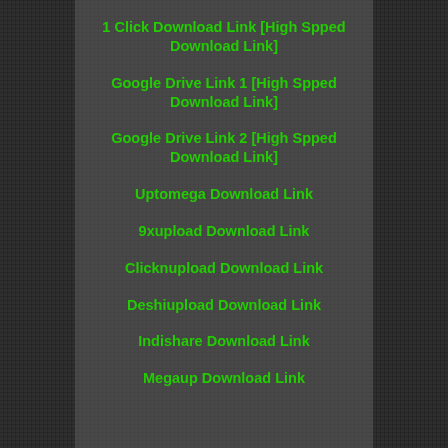1 Click Download Link [High Spped Download Link]
Google Drive Link 1 [High Spped Download Link]
Google Drive Link 2 [High Spped Download Link]
Uptomega Download Link
9xupload Download Link
Clicknupload Download Link
Deshiupload Download Link
Indishare Download Link
Megaup Download Link